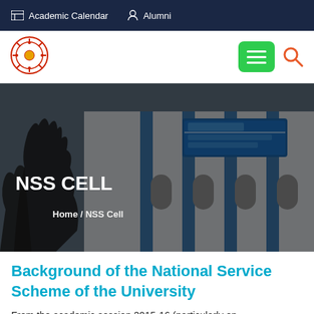Academic Calendar  Alumni
[Figure (logo): University logo (sun/gear emblem in red and gold)]
[Figure (photo): Photo of a university building with blue accents and a sign board, overlaid with NSS CELL title and Home / NSS Cell breadcrumb]
NSS CELL
Home /  NSS Cell
Background of the National Service Scheme of the University
From the academic session 2015-16 (particularly on